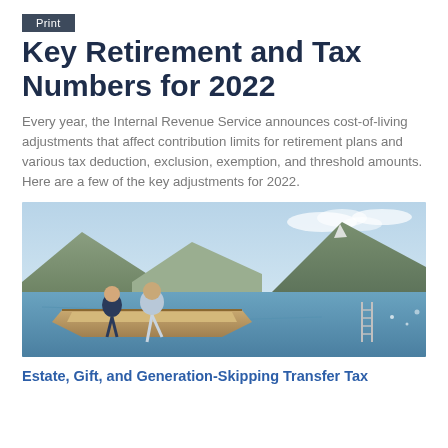Print
Key Retirement and Tax Numbers for 2022
Every year, the Internal Revenue Service announces cost-of-living adjustments that affect contribution limits for retirement plans and various tax deduction, exclusion, exemption, and threshold amounts. Here are a few of the key adjustments for 2022.
[Figure (photo): A couple sitting on the bow of a wooden boat on a mountain lake, with mountains and water in the background.]
Estate, Gift, and Generation-Skipping Transfer Tax